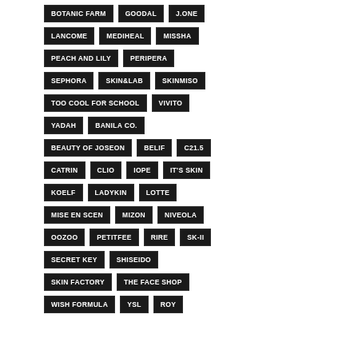BOTANIC FARM
GOODAL
J.ONE
LANCOME
MEDIHEAL
MISSHA
PEACH AND LILY
PERIPERA
SEPHORA
SKIN&LAB
SKINMISO
TOO COOL FOR SCHOOL
VIVITO
YADAH
BANILA CO.
BEAUTY OF JOSEON
BELIF
C21.5
CATRIN
CLIO
IOPE
IT'S SKIN
KOELF
LADYKIN
LOTTE
MISE EN SCEN
MIZON
NIVEOLA
OOZOO
PETITFEE
RIRE
SK-II
SECRET KEY
SHISEIDO
SKIN FACTORY
THE FACE SHOP
WISH FORMULA
YSL
ROY